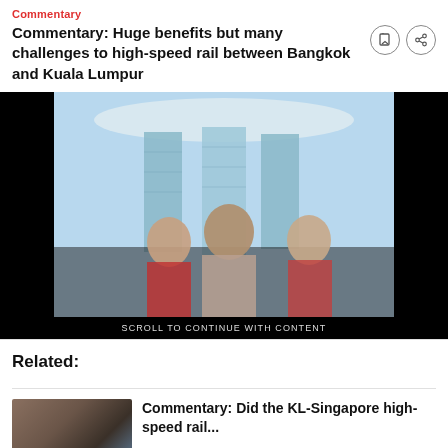Commentary
Commentary: Huge benefits but many challenges to high-speed rail between Bangkok and Kuala Lumpur
[Figure (photo): Photo showing three young people posing in front of Marina Bay Sands building in Singapore against a blue sky, with an advertisement banner. Text overlay reads 'SCROLL TO CONTINUE WITH CONTENT'.]
Related:
[Figure (photo): Thumbnail photo of a cityscape at dusk]
Commentary: Did the KL-Singapore high-speed rail...